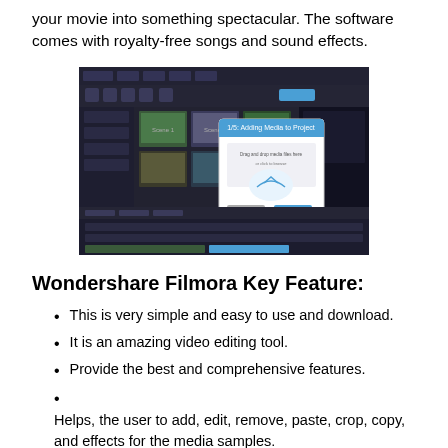your movie into something spectacular. The software comes with royalty-free songs and sound effects.
[Figure (screenshot): Screenshot of Wondershare Filmora video editing software showing the interface with video clips in a timeline, a media library with thumbnails, and a tutorial dialog '1/5: Adding Media to Project' overlaid on the dark-themed UI.]
Wondershare Filmora Key Feature:
This is very simple and easy to use and download.
It is an amazing video editing tool.
Provide the best and comprehensive features.
Helps, the user to add, edit, remove, paste, crop, copy, and effects for the media samples.
Enable the user to watch a live video during editing.